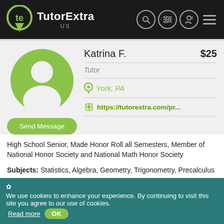[Figure (logo): TutorExtra US logo with green location pin icon on black header bar]
Katrina F.
$25
Tutor
York, PA
https://tutorextra.com/pr...
Send Message
High School Senior, Made Honor Roll all Semesters, Member of National Honor Society and National Math Honor Society
Subjects: Statistics, Algebra, Geometry, Trigonometry, Precalculus
✿ We use cookies to enhance your experience. By continuing to visit this site you agree to our use of cookies.  Read more  OK